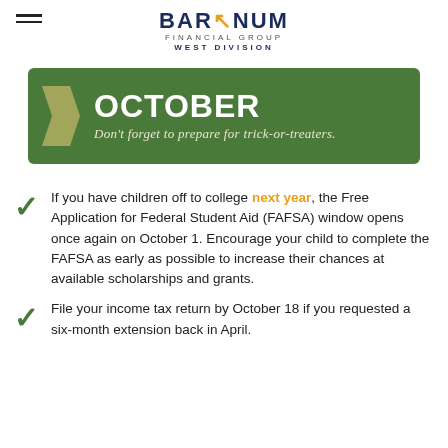BARNUM FINANCIAL GROUP WEST DIVISION
[Figure (infographic): Green banner with arrow icon reading OCTOBER - Don't forget to prepare for trick-or-treaters.]
If you have children off to college next year, the Free Application for Federal Student Aid (FAFSA) window opens once again on October 1. Encourage your child to complete the FAFSA as early as possible to increase their chances at available scholarships and grants.
File your income tax return by October 18 if you requested a six-month extension back in April.